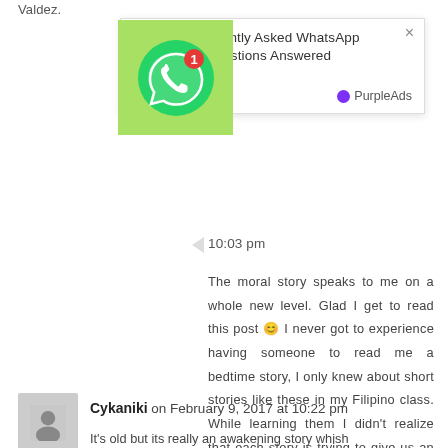Valdez.
[Figure (screenshot): WhatsApp notification ad: '10 Most Frequently Asked WhatsApp Messenger Questions Answered' by Appurse, with PurpleAds branding. WhatsApp icon with badge '1' on green background.]
10:03 pm
The moral story speaks to me on a whole new level. Glad I get to read this post 😊 I never got to experience having someone to read me a bedtime story, I only knew about short stories like these in my Filipino class. While learning them I didn't realize that each story is trying to give us an advice that is applicable in life later on..
Cykaniki on February 9, 2017 at 10:22 pm
It's old but its really an awakening story whish